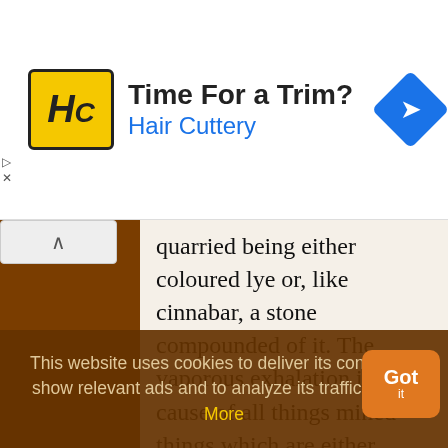[Figure (screenshot): Hair Cuttery advertisement banner with logo, 'Time For a Trim?' headline, and navigation icon]
quarried being either coloured lye or, like cinnabar, a stone compounded of it. The vaporous exhalation is the cause of all things mined—things which are either fusible or malleable such as iron, copper, gold.
— Aristotle
Meteorology, 378a, 19-28. In Jonathan Barnes (ed.), The Works of Aristotle, (1984), Vol. I, 601. Science quotes on: | Being (7) | Cause (549) | Compound (115) | Copper (25) | Drug (51) | Earth (...)
This website uses cookies to deliver its content, to show relevant ads and to analyze its traffic. Learn More